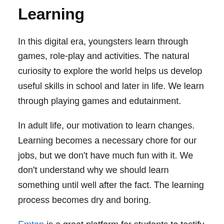Learning
In this digital era, youngsters learn through games, role-play and activities. The natural curiosity to explore the world helps us develop useful skills in school and later in life. We learn through playing games and edutainment.
In adult life, our motivation to learn changes. Learning becomes a necessary chore for our jobs, but we don't have much fun with it. We don't understand why we should learn something until well after the fact. The learning process becomes dry and boring.
Emten is a great platform for students to testify the knowledge and skills that they learn in their school or through life experiences. So not only can you testify your knowledge, but you can also get a lot of learning that is very